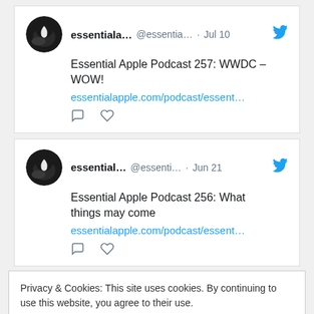[Figure (screenshot): Tweet from essentiala... (@essentia...) dated Jul 10: 'Essential Apple Podcast 257: WWDC – WOW!' with link essentialapple.com/podcast/essent... and comment/like icons, Twitter bird logo]
[Figure (screenshot): Tweet from essential... (@essenti...) dated Jun 21: 'Essential Apple Podcast 256: What things may come' with link essentialapple.com/podcast/essent... and comment/like icons, Twitter bird logo]
Privacy & Cookies: This site uses cookies. By continuing to use this website, you agree to their use. To find out more, including how to control cookies, see here: Cookie Policy